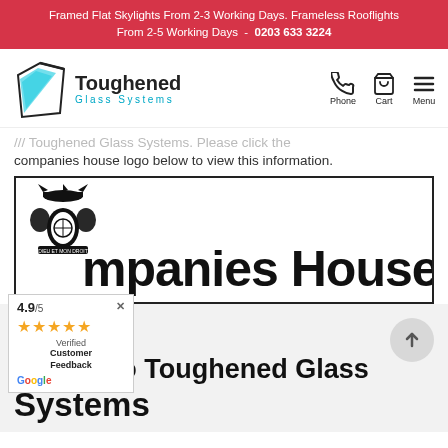Framed Flat Skylights From 2-3 Working Days. Frameless Rooflights From 2-5 Working Days - 0203 633 3224
[Figure (logo): Toughened Glass Systems logo with cyan/teal glass pane graphic and company name]
/// Toughened Glass Systems. Please click the companies house logo below to view this information.
[Figure (logo): Companies House logo with royal crest and large bold text reading 'mpanies House']
[Figure (infographic): Rating widget showing 4.9/5 stars with orange stars, Verified Customer Feedback label and Google badge]
Welcome to Toughened Glass Systems